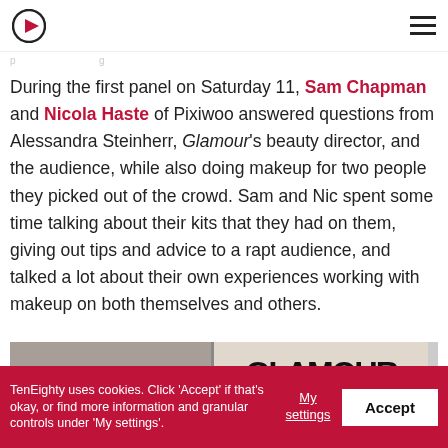TenEighty – navigation bar with logo and hamburger menu
During the first panel on Saturday 11, Sam Chapman and Nicola Haste of Pixiwoo answered questions from Alessandra Steinherr, Glamour's beauty director, and the audience, while also doing makeup for two people they picked out of the crowd. Sam and Nic spent some time talking about their kits that they had on them, giving out tips and advice to a rapt audience, and talked a lot about their own experiences working with makeup on both themselves and others.
[Figure (photo): Photo strip showing two images side by side: left shows a person at an event, right shows text 'GLAMOUR' in large bold letters]
TenEighty uses cookies. Click 'Accept' if that's okay, or find more information and granular controls under 'My settings'.